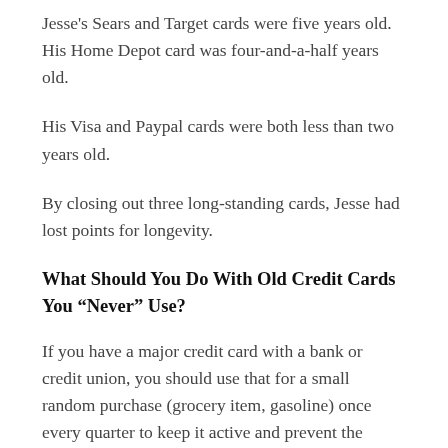Jesse's Sears and Target cards were five years old. His Home Depot card was four-and-a-half years old.
His Visa and Paypal cards were both less than two years old.
By closing out three long-standing cards, Jesse had lost points for longevity.
What Should You Do With Old Credit Cards You “Never” Use?
If you have a major credit card with a bank or credit union, you should use that for a small random purchase (grocery item, gasoline) once every quarter to keep it active and prevent the